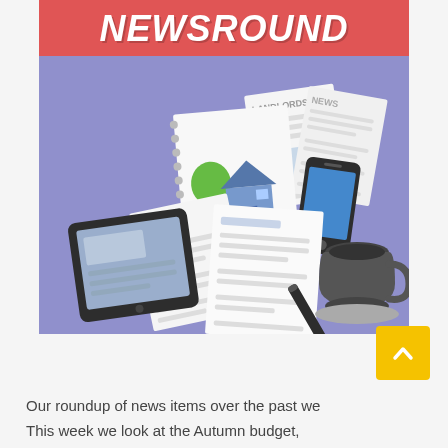NEWSROUND
[Figure (illustration): Illustration on a purple/periwinkle background showing scattered papers with text 'LANDLORDS!', 'NEWS', 'LATEST', a notebook with a house icon, a smartphone, a tablet device, a coffee cup, and a pen/marker.]
Our roundup of news items over the past we
This week we look at the Autumn budget,